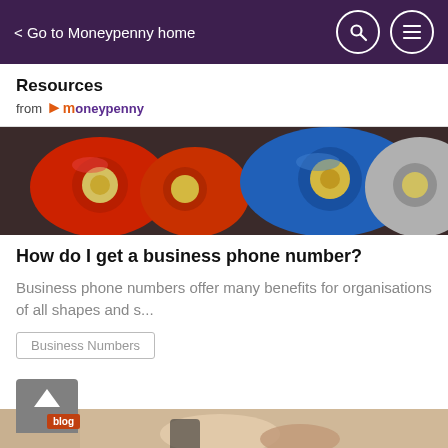< Go to Moneypenny home
Resources from moneypenny
[Figure (photo): Row of vintage rotary dial telephones in red, orange, blue, and grey colors viewed from above]
How do I get a business phone number?
Business phone numbers offer many benefits for organisations of all shapes and s...
Business Numbers
[Figure (photo): Partially visible photo showing hands with a phone, blog badge overlay with upward arrow icon]